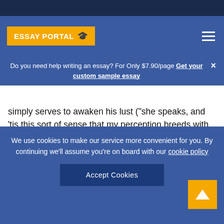ESSAY PORTAL
Do you need help writing an essay? For Only $7.90/page Get your custom sample essay
simply serves to awaken his lust (“she speaks, and ‘tis this sort of sense that my perception breeds with it”). In Act a couple of, Scene IV, her terms language reflects how she subconsciously responds to Angelo’s sexual overtures, with imagery reminiscent of masochistic beating dreams (“Th’impression of keen whips I’d have on as rubies/And strip me
We use cookies to make our service more convenient for you. By continuing we’ll assume you’re on board with our cookie policy
Accept Cookies